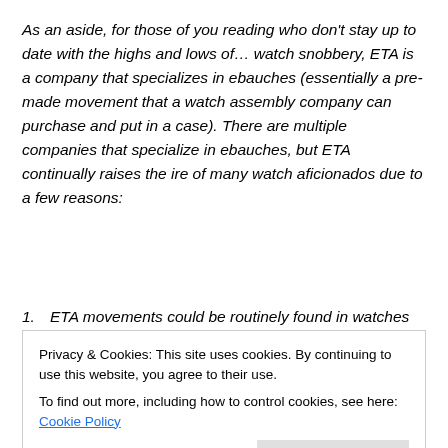As an aside, for those of you reading who don't stay up to date with the highs and lows of… watch snobbery, ETA is a company that specializes in ebauches (essentially a pre-made movement that a watch assembly company can purchase and put in a case). There are multiple companies that specialize in ebauches, but ETA continually raises the ire of many watch aficionados due to a few reasons:
ETA movements could be routinely found in watches that MSRP's for $500 and the same movement in a
Privacy & Cookies: This site uses cookies. By continuing to use this website, you agree to their use. To find out more, including how to control cookies, see here: Cookie Policy
Close and accept
who use their movements if someone wants to buy an